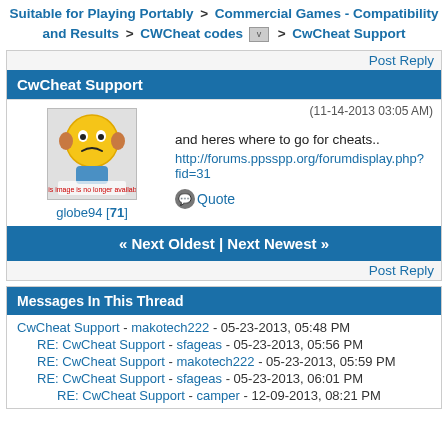Suitable for Playing Portably > Commercial Games - Compatibility and Results > CWCheat codes v > CwCheat Support
CwCheat Support
(11-14-2013 03:05 AM)
globe94 [71]
and heres where to go for cheats..
http://forums.ppsspp.org/forumdisplay.php?fid=31
Quote
« Next Oldest | Next Newest »
Post Reply
Messages In This Thread
CwCheat Support - makotech222 - 05-23-2013, 05:48 PM
RE: CwCheat Support - sfageas - 05-23-2013, 05:56 PM
RE: CwCheat Support - makotech222 - 05-23-2013, 05:59 PM
RE: CwCheat Support - sfageas - 05-23-2013, 06:01 PM
RE: CwCheat Support - camper - 12-09-2013, 08:21 PM